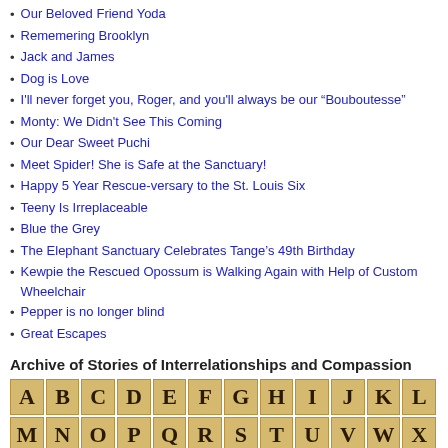Our Beloved Friend Yoda
Rememering Brooklyn
Jack and James
Dog is Love
I'll never forget you, Roger, and you'll always be our “Bouboutesse”
Monty: We Didn't See This Coming
Our Dear Sweet Puchi
Meet Spider! She is Safe at the Sanctuary!
Happy 5 Year Rescue-versary to the St. Louis Six
Teeny Is Irreplaceable
Blue the Grey
The Elephant Sanctuary Celebrates Tange’s 49th Birthday
Kewpie the Rescued Opossum is Walking Again with Help of Custom Wheelchair
Pepper is no longer blind
Great Escapes
Archive of Stories of Interrelationships and Compassion
[Figure (illustration): Alphabet letter tiles in golden/tan color arranged in rows: A B C D E F G H I J K L M N O P Q R S T on first row, U V W X Y Z on second row, A alone on third row]